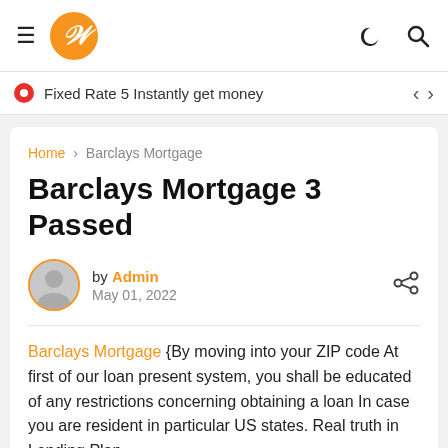W — navigation bar with hamburger menu, W logo, moon icon, search icon
Fixed Rate 5 Instantly get money
Home > Barclays Mortgage
Barclays Mortgage 3 Passed
by Admin
May 01, 2022
Barclays Mortgage {By moving into your ZIP code At first of our loan present system, you shall be educated of any restrictions concerning obtaining a loan In case you are resident in particular US states. Real truth in Lending Plan